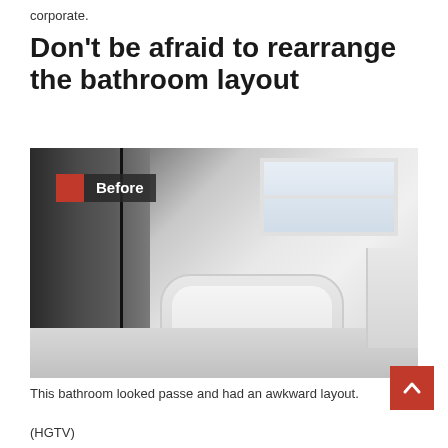corporate.
Don’t be afraid to rearrange the bathroom layout
[Figure (photo): Before photo of a bathroom with a shower curtain on the left, a white soaking bathtub in the center-right, a window above the tub, white walls, and a cabinet on the far right. A 'Before' label with a red square is overlaid on the upper left of the image.]
This bathroom looked passe and had an awkward layout.
(HGTV)